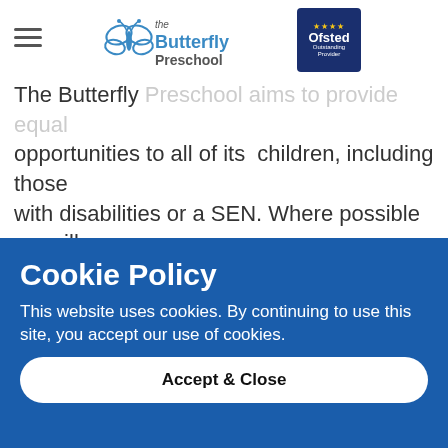the Butterfly Preschool
environment and curriculum accessible for all children? The Butterfly Preschool aims to provide equal opportunities to all of its children, including those with disabilities or a SEN. Where possible we will adapt the environment to make it accessible for each child but on occasion due to restrictions on space and facilities this may not always be possible.
Cookie Policy
This website uses cookies. By continuing to use this site, you accept our use of cookies.
Accept & Close